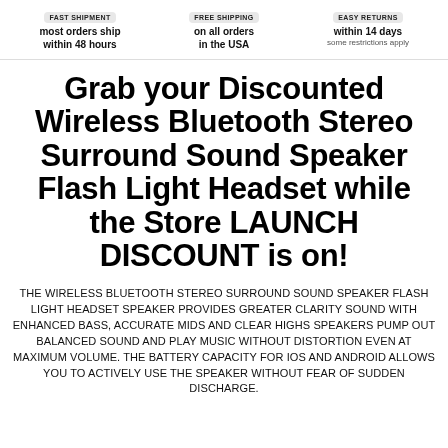FAST SHIPMENT most orders ship within 48 hours | FREE SHIPPING on all orders in the USA | EASY RETURNS within 14 days some restrictions apply
Grab your Discounted Wireless Bluetooth Stereo Surround Sound Speaker Flash Light Headset while the Store LAUNCH DISCOUNT is on!
THE WIRELESS BLUETOOTH STEREO SURROUND SOUND SPEAKER FLASH LIGHT HEADSET SPEAKER PROVIDES GREATER CLARITY SOUND WITH ENHANCED BASS, ACCURATE MIDS AND CLEAR HIGHS SPEAKERS PUMP OUT BALANCED SOUND AND PLAY MUSIC WITHOUT DISTORTION EVEN AT MAXIMUM VOLUME. THE BATTERY CAPACITY FOR IOS AND ANDROID ALLOWS YOU TO ACTIVELY USE THE SPEAKER WITHOUT FEAR OF SUDDEN DISCHARGE.